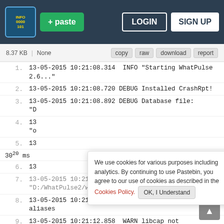Pastebin navigation bar with logo, + paste button, LOGIN and SIGN UP buttons
8.37 KB | None   copy  raw  download  report
1. 13-05-2015 10:21:08.314  INFO "Starting WhatPulse 2.6..."
2. 13-05-2015 10:21:08.720 DEBUG Installed CrashRpt!
3. 13-05-2015 10:21:08.892 DEBUG Database file: "D
4. 13
5. 13
30^20 ms
6. 13   Not a member of Pastebin yet? Sign Up, it unlocks many cool features!
7. 13-05-2015 10:21:11.921 DEBUG Encrypted file: "D:/WhatPulse2/whatpulse.wpw"
8. 13-05-2015 10:21:12.733 DEBUG Loaded applicat aliases
9. 13-05-2015 10:21:12.858  WARN libcap not
We use cookies for various purposes including analytics. By continuing to use Pastebin, you agree to our use of cookies as described in the Cookies Policy. OK, I Understand
Not a member of Pastebin yet? Sign Up, it unlocks many cool features!